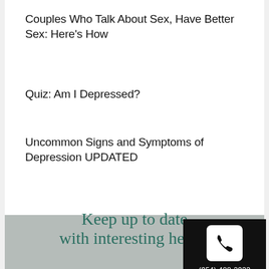Couples Who Talk About Sex, Have Better Sex: Here’s How
Quiz: Am I Depressed?
Uncommon Signs and Symptoms of Depression UPDATED
MORE POSTS
(954) 488-2933
Keep up to date with interesting health